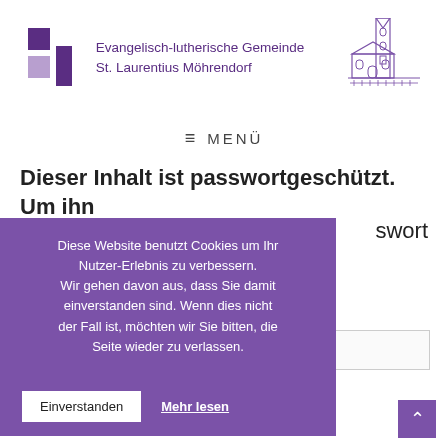[Figure (logo): Evangelisch-lutherische Gemeinde St. Laurentius Möhrendorf logo with colored squares and church illustration]
≡  MENÜ
Dieser Inhalt ist passwortgeschützt. Um ihn
swort
Diese Website benutzt Cookies um Ihr Nutzer-Erlebnis zu verbessern. Wir gehen davon aus, dass Sie damit einverstanden sind. Wenn dies nicht der Fall ist, möchten wir Sie bitten, die Seite wieder zu verlassen.
Einverstanden
Mehr lesen